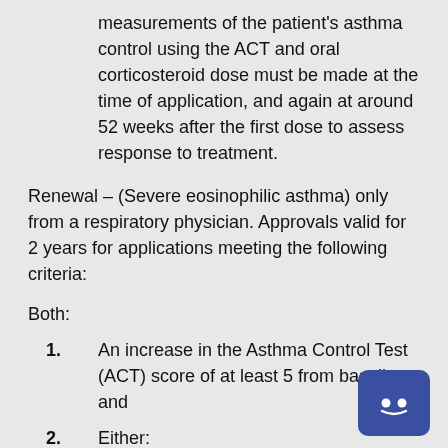measurements of the patient's asthma control using the ACT and oral corticosteroid dose must be made at the time of application, and again at around 52 weeks after the first dose to assess response to treatment.
Renewal – (Severe eosinophilic asthma) only from a respiratory physician. Approvals valid for 2 years for applications meeting the following criteria:
Both:
An increase in the Asthma Control Test (ACT) score of at least 5 from baseline; and
Either: